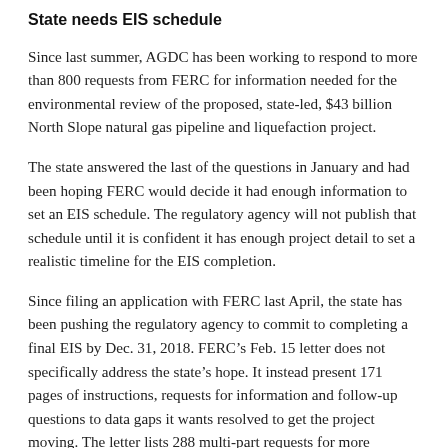State needs EIS schedule
Since last summer, AGDC has been working to respond to more than 800 requests from FERC for information needed for the environmental review of the proposed, state-led, $43 billion North Slope natural gas pipeline and liquefaction project.
The state answered the last of the questions in January and had been hoping FERC would decide it had enough information to set an EIS schedule. The regulatory agency will not publish that schedule until it is confident it has enough project detail to set a realistic timeline for the EIS completion.
Since filing an application with FERC last April, the state has been pushing the regulatory agency to commit to completing a final EIS by Dec. 31, 2018. FERC’s Feb. 15 letter does not specifically address the state’s hope. It instead present 171 pages of instructions, requests for information and follow-up questions to data gaps it wants resolved to get the project moving. The letter lists 288 multi-part requests for more information.